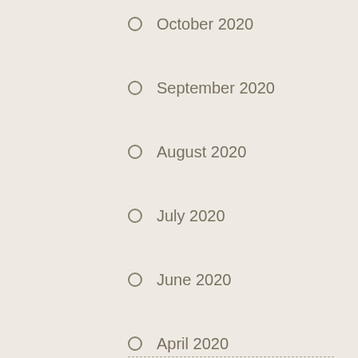October 2020
September 2020
August 2020
July 2020
June 2020
April 2020
March 2020
February 2020
January 2020
December 2019
November 2019
October 2019
September 2019